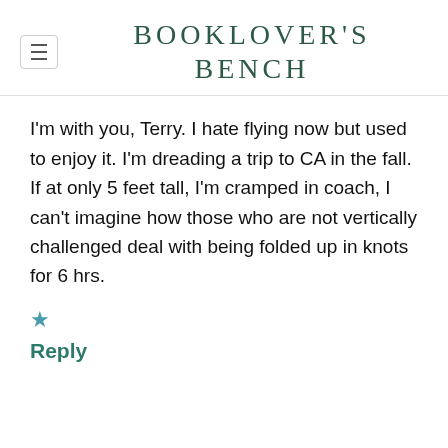BOOKLOVER'S BENCH
I'm with you, Terry. I hate flying now but used to enjoy it. I'm dreading a trip to CA in the fall. If at only 5 feet tall, I'm cramped in coach, I can't imagine how those who are not vertically challenged deal with being folded up in knots for 6 hrs.
★
Reply